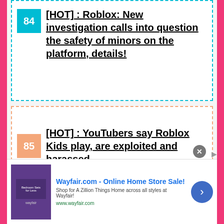84 [HOT] : Roblox: New investigation calls into question the safety of minors on the platform, details!
85 [HOT] : YouTubers say Roblox Kids play, are exploited and harassed
86 [HOT] : Rainbow Six Siege fights on December 14, anti-cheat plans preview
[Figure (screenshot): Advertisement banner for Wayfair.com - Online Home Store Sale! with thumbnail image, description text, and navigation arrow]